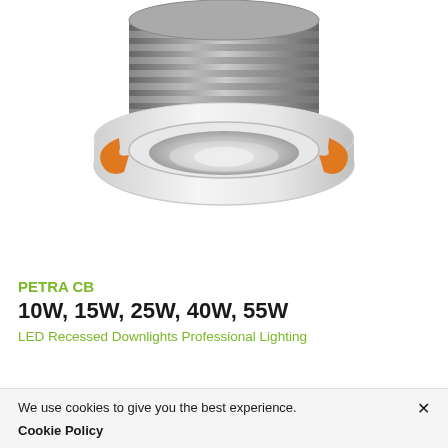[Figure (photo): LED recessed downlight product photo showing a round white housing with orange mounting clips and a gray ribbed heat sink body, viewed from a 3/4 angle from above.]
PETRA CB
10W, 15W, 25W, 40W, 55W
LED Recessed Downlights Professional Lighting
We use cookies to give you the best experience. Cookie Policy